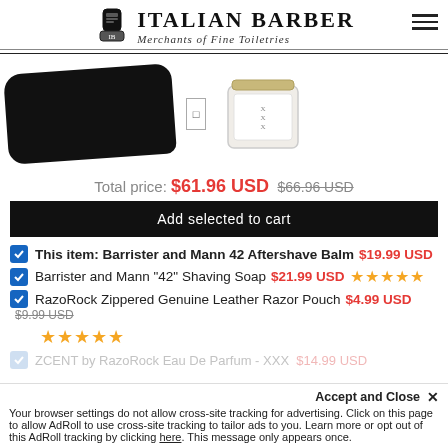Italian Barber — Merchants of Fine Toiletries
[Figure (photo): Product image of a black zippered leather razor pouch and a jar of shaving soap labeled XXX]
Total price: $61.96 USD  $66.96 USD
Add selected to cart
This item: Barrister and Mann 42 Aftershave Balm  $19.99 USD
Barrister and Mann "42" Shaving Soap  $21.99 USD  ★★★★★
RazoRock Zippered Genuine Leather Razor Pouch  $4.99 USD  $9.99 USD  ★★★★★
ZCENT by RazoRock Eau De Parfum - XXX  $14.99 USD (partially visible)
Accept and Close ✕
Your browser settings do not allow cross-site tracking for advertising. Click on this page to allow AdRoll to use cross-site tracking to tailor ads to you. Learn more or opt out of this AdRoll tracking by clicking here. This message only appears once.